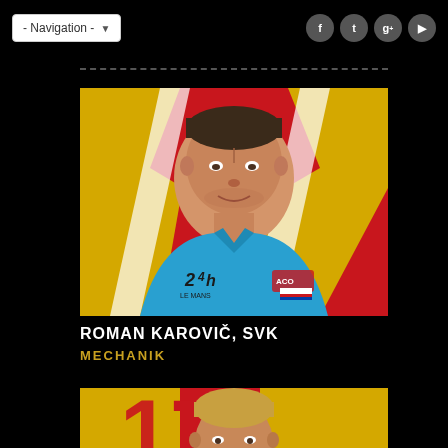- Navigation -
[Figure (photo): Portrait photo of Roman Karovič wearing a blue polo shirt with '24h Le Mans' logo, against a red and yellow background.]
ROMAN KAROVIČ, SVK
MECHANIK
[Figure (photo): Partial portrait photo of another person against a red and yellow background with large numbers.]